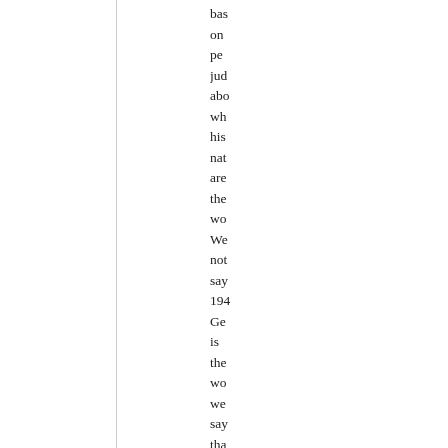based on personal judgment about whether his nation are the world. We not say 1940 Germany is the world we say that when you cro